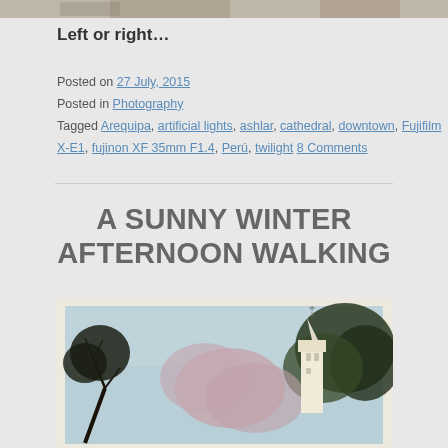[Figure (photo): Top portion of a photo showing decorative stone architectural details, partially cropped at top of page]
Left or right...
Posted on 27 July, 2015
Posted in Photography
Tagged Arequipa, artificial lights, ashlar, cathedral, downtown, Fujifilm X-E1, fujinon XF 35mm F1.4, Perú, twilight 8 Comments
A SUNNY WINTER AFTERNOON WALKING
[Figure (photo): A sunny outdoor photo with trees in the foreground and a church steeple/tower visible against a light blue sky, with warm vintage tones]